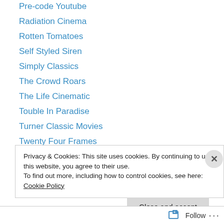Pre-code Youtube
Radiation Cinema
Rotten Tomatoes
Self Styled Siren
Simply Classics
The Crowd Roars
The Life Cinematic
Touble In Paradise
Turner Classic Movies
Twenty Four Frames
Where Danger Lives
Privacy & Cookies: This site uses cookies. By continuing to use this website, you agree to their use. To find out more, including how to control cookies, see here: Cookie Policy
Close and accept
Follow ...